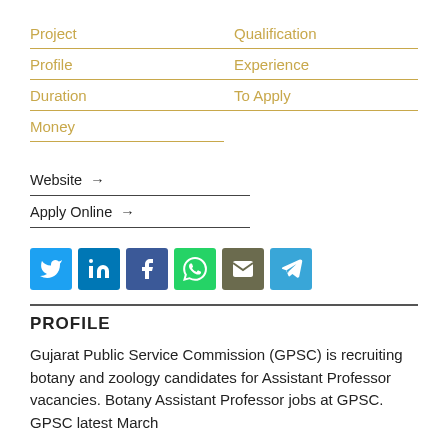Project
Qualification
Profile
Experience
Duration
To Apply
Money
Website →
Apply Online →
[Figure (infographic): Social media sharing icons: Twitter, LinkedIn, Facebook, WhatsApp, Email, Telegram]
PROFILE
Gujarat Public Service Commission (GPSC) is recruiting botany and zoology candidates for Assistant Professor vacancies. Botany Assistant Professor jobs at GPSC. GPSC latest March